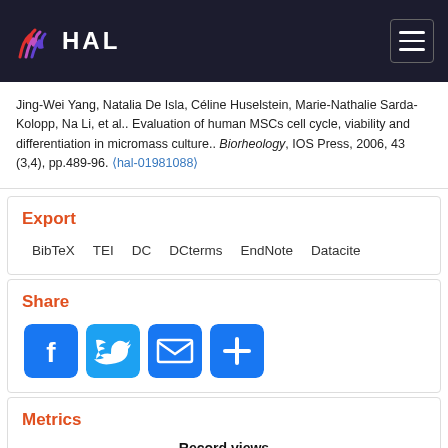HAL
Jing-Wei Yang, Natalia De Isla, Céline Huselstein, Marie-Nathalie Sarda-Kolopp, Na Li, et al.. Evaluation of human MSCs cell cycle, viability and differentiation in micromass culture.. Biorheology, IOS Press, 2006, 43 (3,4), pp.489-96. ⟨hal-01981088⟩
Export
BibTeX  TEI  DC  DCterms  EndNote  Datacite
Share
[Figure (infographic): Social share buttons: Facebook, Twitter, Email, More]
Metrics
Record views